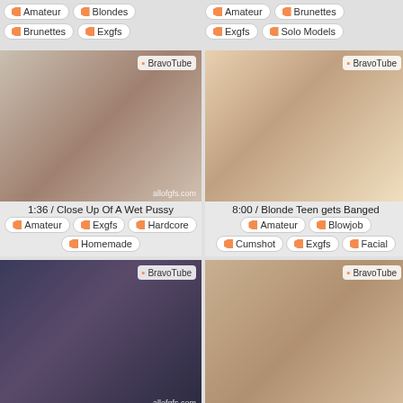Amateur | Blondes | Brunettes | Exgfs (left column tags)
Amateur | Brunettes | Exgfs | Solo Models (right column tags)
[Figure (photo): Video thumbnail: close-up explicit content with allofgfs.com watermark and BravoTube badge]
1:36 / Close Up Of A Wet Pussy
Amateur | Exgfs | Hardcore | Homemade
[Figure (photo): Video thumbnail: explicit close-up content with BravoTube badge]
8:00 / Blonde Teen gets Banged
Amateur | Blowjob | Cumshot | Exgfs | Facial
[Figure (photo): Video thumbnail: woman with dark hair, explicit content, allofgfs.com watermark and BravoTube badge]
0:30 / Sexy Brunette With Big...
[Figure (photo): Video thumbnail: woman explicit content with BravoTube badge]
1:50 / Teenage Baby Has Tits...